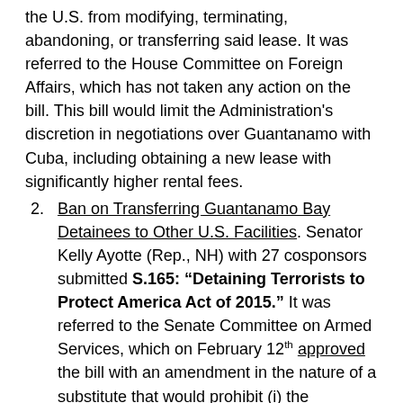the U.S. from modifying, terminating, abandoning, or transferring said lease. It was referred to the House Committee on Foreign Affairs, which has not taken any action on the bill. This bill would limit the Administration's discretion in negotiations over Guantanamo with Cuba, including obtaining a new lease with significantly higher rental fees.
Ban on Transferring Guantanamo Bay Detainees to Other U.S. Facilities. Senator Kelly Ayotte (Rep., NH) with 27 cosponsors submitted S.165: "Detaining Terrorists to Protect America Act of 2015." It was referred to the Senate Committee on Armed Services, which on February 12th approved the bill with an amendment in the nature of a substitute that would prohibit (i) the construction or modification of any U.S. facility to house certain individuals detained in Guantanamo Bay, Cuba, as of October 1, 2009; (ii) the transfer or release of certain detainees at Guantanamo Bay to other U.S. facilities and foreign